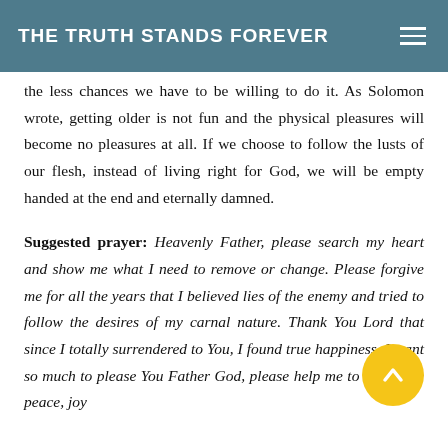THE TRUTH STANDS FOREVER
the less chances we have to be willing to do it. As Solomon wrote, getting older is not fun and the physical pleasures will become no pleasures at all. If we choose to follow the lusts of our flesh, instead of living right for God, we will be empty handed at the end and eternally damned.
Suggested prayer: Heavenly Father, please search my heart and show me what I need to remove or change. Please forgive me for all the years that I believed lies of the enemy and tried to follow the desires of my carnal nature. Thank You Lord that since I totally surrendered to You, I found true happiness. I want so much to please You Father God, please help me to do it. The peace, joy